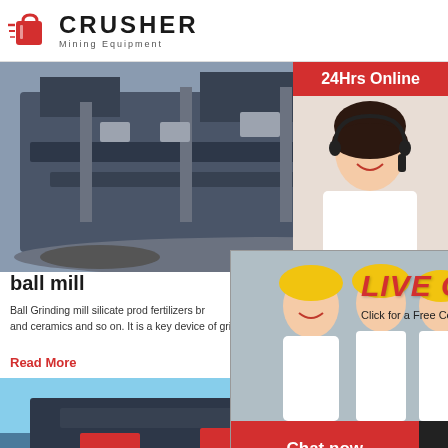[Figure (logo): Crusher Mining Equipment logo with red shopping bag icon and bold black CRUSHER text]
[Figure (photo): Large industrial crusher/mining equipment machine on a construction site, blue-grey tones]
ball mill
Ball Grinding Mill is the key equipment for grinding after the crushing process, which is widely used in the manufacture industries, such as cement, silicate, new building material, refractory material, fertilizer, ferrous metal, nonferrous metal and ceramics and so on. It is a key device of grin...
Read More
[Figure (photo): Industrial conveyor belt / screening machine with red components outdoors]
[Figure (screenshot): Live chat popup overlay with three workers in hard hats and a customer service representative]
[Figure (photo): Right sidebar with 24Hrs Online header, customer service representative with headset, Need questions suggestion Chat Now button, Enquiry section, limingjlmofen@sina.com email]